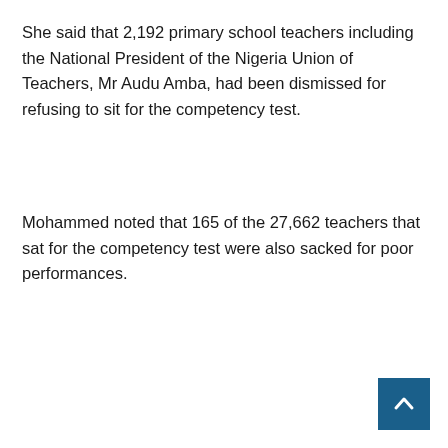She said that 2,192 primary school teachers including the National President of the Nigeria Union of Teachers, Mr Audu Amba, had been dismissed for refusing to sit for the competency test.
Mohammed noted that 165 of the 27,662 teachers that sat for the competency test were also sacked for poor performances.